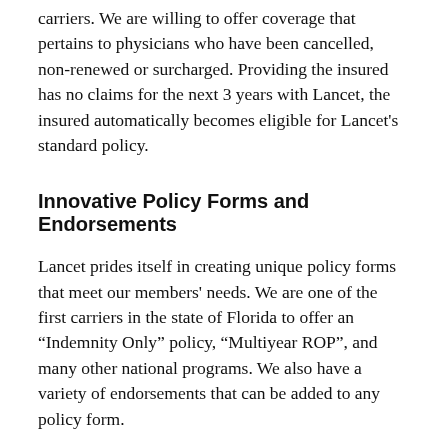carriers. We are willing to offer coverage that pertains to physicians who have been cancelled, non-renewed or surcharged. Providing the insured has no claims for the next 3 years with Lancet, the insured automatically becomes eligible for Lancet's standard policy.
Innovative Policy Forms and Endorsements
Lancet prides itself in creating unique policy forms that meet our members' needs. We are one of the first carriers in the state of Florida to offer an “Indemnity Only” policy, “Multiyear ROP”, and many other national programs. We also have a variety of endorsements that can be added to any policy form.
View our innovative policy forms and endorsements